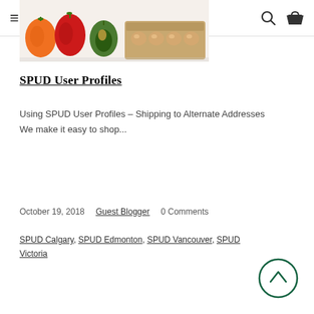≡ 🍎 SPUD.CA
[Figure (photo): Photo of fresh vegetables including orange and red peppers, avocado, and eggs in a carton on a white surface]
SPUD User Profiles
Using SPUD User Profiles – Shipping to Alternate Addresses We make it easy to shop...
October 19, 2018    Guest Blogger    0 Comments
SPUD Calgary, SPUD Edmonton, SPUD Vancouver, SPUD Victoria